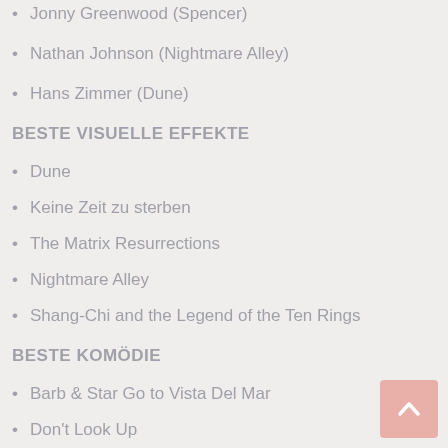Jonny Greenwood (Spencer)
Nathan Johnson (Nightmare Alley)
Hans Zimmer (Dune)
BESTE VISUELLE EFFEKTE
Dune
Keine Zeit zu sterben
The Matrix Resurrections
Nightmare Alley
Shang-Chi and the Legend of the Ten Rings
BESTE KOMÖDIE
Barb & Star Go to Vista Del Mar
Don't Look Up